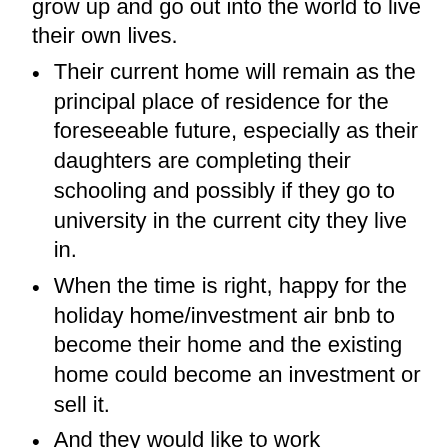spend time together before the kids grow up and go out into the world to live their own lives.
Their current home will remain as the principal place of residence for the foreseeable future, especially as their daughters are completing their schooling and possibly if they go to university in the current city they live in.
When the time is right, happy for the holiday home/investment air bnb to become their home and the existing home could become an investment or sell it.
And they would like to work...